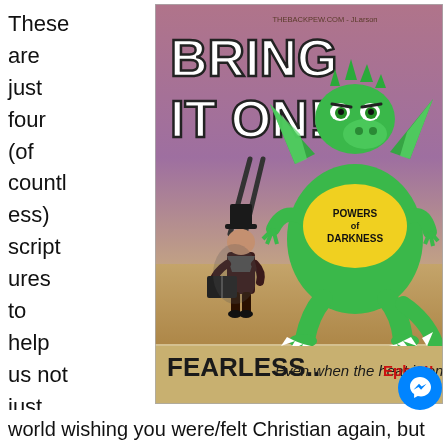These are just four (of countless) scriptures to help us not just endure e this
[Figure (illustration): Christian cartoon illustration showing a small pilgrim/puritan figure holding a Bible facing a large green dragon wearing a yellow shirt labeled 'POWERS of DARKNESS'. Large text reads 'BRING IT ON!' at the top. Bottom text reads 'FEARLESS.. Even when the heat is on. Eph 6!!' Attribution: THEBACKPEW.COM - JLarson.]
world wishing you were/felt Christian again, but